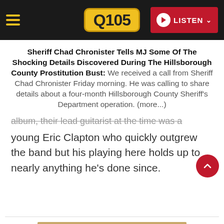Q105 — LISTEN
Sheriff Chad Chronister Tells MJ Some Of The Shocking Details Discovered During The Hillsborough County Prostitution Bust: We received a call from Sheriff Chad Chronister Friday morning. He was calling to share details about a four-month Hillsborough County Sheriff's Department operation. (more...)
album, their lead guitarist at the time was a young Eric Clapton who quickly outgrew the band but his playing here holds up to nearly anything he's done since.
[Figure (other): Tan/beige colored advertisement banner image at bottom of page]